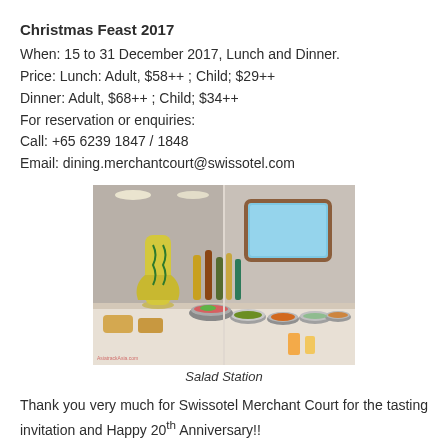Christmas Feast 2017
When: 15 to 31 December 2017, Lunch and Dinner.
Price: Lunch: Adult, $58++ ; Child; $29++
Dinner: Adult, $68++ ; Child; $34++
For reservation or enquiries:
Call: +65 6239 1847 / 1848
Email: dining.merchantcourt@swissotel.com
[Figure (photo): Buffet salad station with various dishes, bowls, bottles of condiments, and a large decorative vase. Split image showing two angles of the restaurant buffet spread.]
Salad Station
Thank you very much for Swissotel Merchant Court for the tasting invitation and Happy 20th Anniversary!!